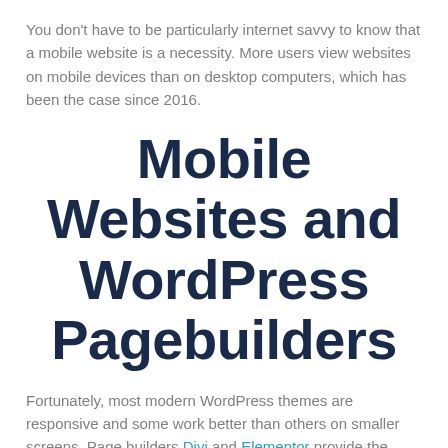You don't have to be particularly internet savvy to know that a mobile website is a necessity. More users view websites on mobile devices than on desktop computers, which has been the case since 2016.
Mobile Websites and WordPress Pagebuilders
Fortunately, most modern WordPress themes are responsive and some work better than others on smaller screens. Page builders Divi and Elementor provide the same ease of use for mobile as they do for desktop.